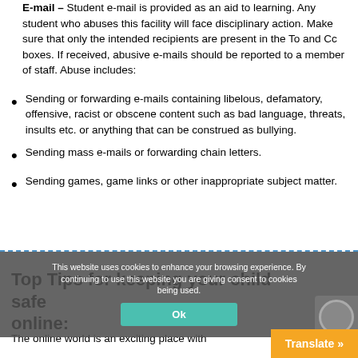E-mail – Student e-mail is provided as an aid to learning. Any student who abuses this facility will face disciplinary action. Make sure that only the intended recipients are present in the To and Cc boxes. If received, abusive e-mails should be reported to a member of staff. Abuse includes:
Sending or forwarding e-mails containing libelous, defamatory, offensive, racist or obscene content such as bad language, threats, insults etc. or anything that can be construed as bullying.
Sending mass e-mails or forwarding chain letters.
Sending games, game links or other inappropriate subject matter.
Top Tips for keeping your child safe online:
The online world is an exciting place with